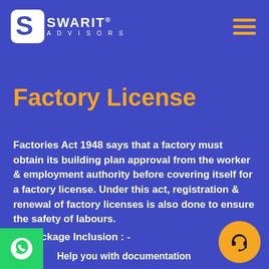[Figure (logo): Swarit Advisors logo with white S-shaped icon and text, with hamburger menu icon in gold on the right]
Factory License
Factories Act 1948 says that a factory must obtain its building plan approval from the worker & employment authority before covering itself for a factory license. Under this act, registration & renewal of factory licenses is also done to ensure the safety of labours.
Package Inclusion : -
Help you with documentation
Filling & drafting the application